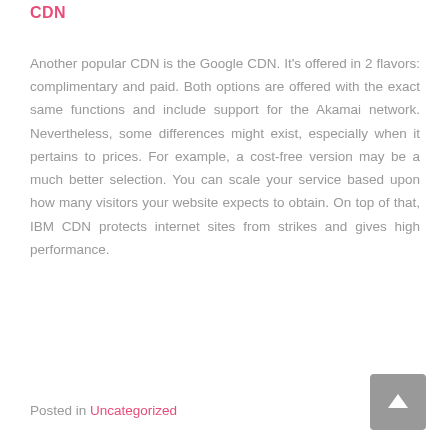CDN
Another popular CDN is the Google CDN. It's offered in 2 flavors: complimentary and paid. Both options are offered with the exact same functions and include support for the Akamai network. Nevertheless, some differences might exist, especially when it pertains to prices. For example, a cost-free version may be a much better selection. You can scale your service based upon how many visitors your website expects to obtain. On top of that, IBM CDN protects internet sites from strikes and gives high performance.
Posted in Uncategorized